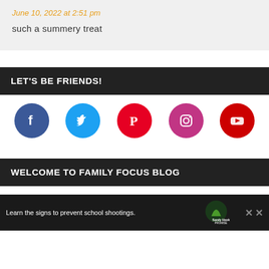June 10, 2022 at 2:51 pm
such a summery treat
LET'S BE FRIENDS!
[Figure (infographic): Row of five social media icons: Facebook (blue circle with f), Twitter (light blue circle with bird), Pinterest (red circle with P), Instagram (purple-pink circle with camera), YouTube (dark red circle with play button)]
WELCOME TO FAMILY FOCUS BLOG
Learn the signs to prevent school shootings. Sandy Hook Promise